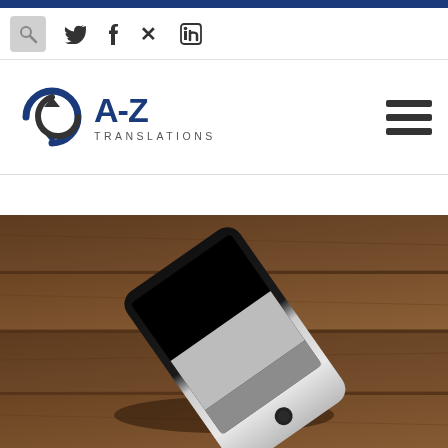Top blue bar
[Figure (logo): Search icon and social media icons: Twitter, Facebook, Xing, LinkedIn]
[Figure (logo): A-Z Translations logo with circular arrow icon and hamburger menu]
[Figure (photo): Close-up photo of a smartphone lying on a wooden surface, viewed from an angle]